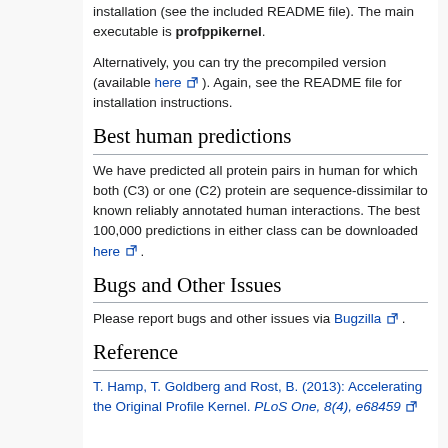installation (see the included README file). The main executable is profppikernel.
Alternatively, you can try the precompiled version (available here). Again, see the README file for installation instructions.
Best human predictions
We have predicted all protein pairs in human for which both (C3) or one (C2) protein are sequence-dissimilar to known reliably annotated human interactions. The best 100,000 predictions in either class can be downloaded here.
Bugs and Other Issues
Please report bugs and other issues via Bugzilla.
Reference
T. Hamp, T. Goldberg and Rost, B. (2013): Accelerating the Original Profile Kernel. PLoS One, 8(4), e68459